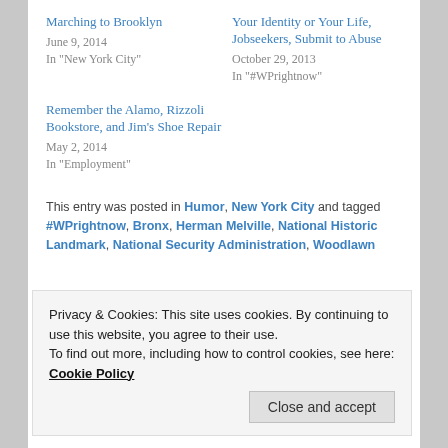Marching to Brooklyn
June 9, 2014
In "New York City"
Your Identity or Your Life, Jobseekers, Submit to Abuse
October 29, 2013
In "#WPrightnow"
Remember the Alamo, Rizzoli Bookstore, and Jim's Shoe Repair
May 2, 2014
In "Employment"
This entry was posted in Humor, New York City and tagged #WPrightnow, Bronx, Herman Melville, National Historic Landmark, National Security Administration, Woodlawn
Privacy & Cookies: This site uses cookies. By continuing to use this website, you agree to their use.
To find out more, including how to control cookies, see here: Cookie Policy